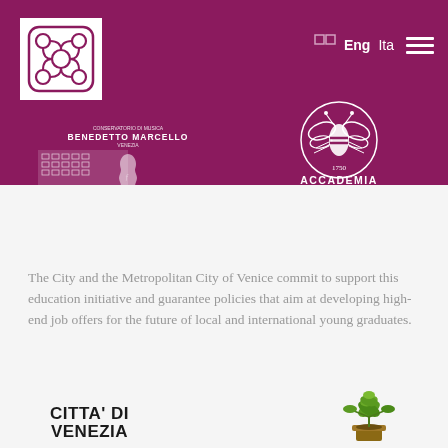[Figure (logo): Conservatorio di Musica Benedetto Marcello Venezia logo - white ornamental design on magenta background, square white box]
[Figure (logo): Navigation bar with language toggle icons, Eng, Ita text, and hamburger menu on magenta background]
[Figure (logo): Conservatorio Benedetto Marcello logo with building and violin illustration, text Formazione, Produzione, Ricerca]
[Figure (logo): Accademia di Belle Arti Venezia logo - bee emblem in circle with 1750, white on magenta, with text ACCADEMIA DI BELLE ARTI VENEZIA]
The City and the Metropolitan City of Venice commit to support this education initiative and guarantee policies that aim at developing high-end job offers for the future of local and international young graduates.
[Figure (logo): CITTA' DI VENEZIA text logo in bold black]
[Figure (logo): Plant/tree logo illustration]